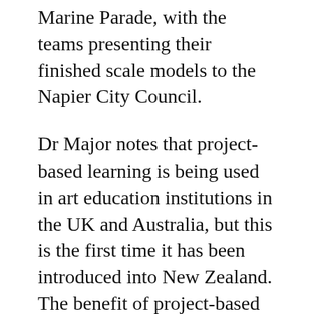Marine Parade, with the teams presenting their finished scale models to the Napier City Council.
Dr Major notes that project-based learning is being used in art education institutions in the UK and Australia, but this is the first time it has been introduced into New Zealand. The benefit of project-based learning is a team working experience as the students develop real-world projects. This makes the qualification more relevant to a career in the creative industries.
To succeed at selling their work artists need a business mindset, and thus business skills